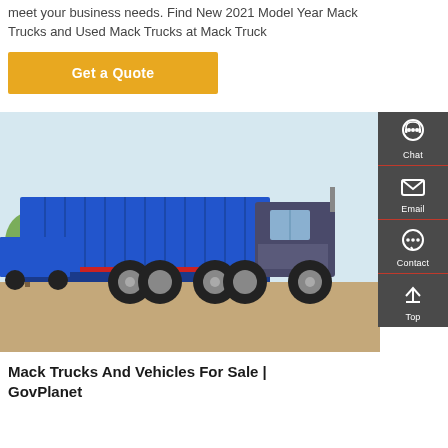meet your business needs. Find New 2021 Model Year Mack Trucks and Used Mack Trucks at Mack Truck
[Figure (other): Orange/yellow 'Get a Quote' button]
[Figure (photo): Blue heavy-duty dump truck parked on dirt ground with trees in background. Side profile view showing large cargo bed and multiple rear axles.]
[Figure (infographic): Dark grey sidebar with Chat (headset icon), Email (envelope icon), Contact (speech bubble icon), and Top (arrow up icon) navigation buttons separated by red lines.]
Mack Trucks And Vehicles For Sale | GovPlanet